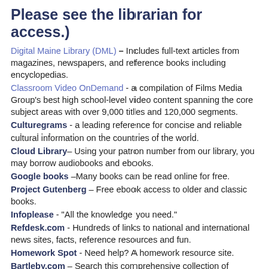Please see the librarian for access.)
Digital Maine Library (DML) – Includes full-text articles from magazines, newspapers, and reference books including encyclopedias.
Classroom Video OnDemand - a compilation of Films Media Group's best high school-level video content spanning the core subject areas with over 9,000 titles and 120,000 segments.
Culturegrams - a leading reference for concise and reliable cultural information on the countries of the world.
Cloud Library– Using your patron number from our library, you may borrow audiobooks and ebooks.
Google books –Many books can be read online for free.
Project Gutenberg – Free ebook access to older and classic books.
Infoplease - "All the knowledge you need."
Refdesk.com - Hundreds of links to national and international news sites, facts, reference resources and fun.
Homework Spot - Need help? A homework resource site.
Bartleby.com – Search this comprehensive collection of